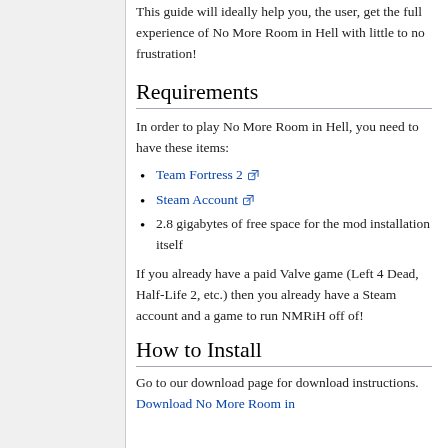This guide will ideally help you, the user, get the full experience of No More Room in Hell with little to no frustration!
Requirements
In order to play No More Room in Hell, you need to have these items:
Team Fortress 2
Steam Account
2.8 gigabytes of free space for the mod installation itself
If you already have a paid Valve game (Left 4 Dead, Half-Life 2, etc.) then you already have a Steam account and a game to run NMRiH off of!
How to Install
Go to our download page for download instructions. Download No More Room in